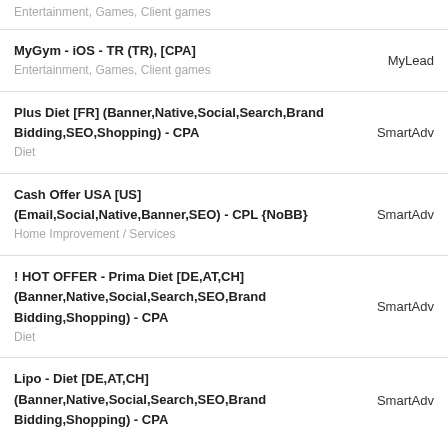Entertainment, Games, Client games
MyGym - iOS - TR (TR), [CPA]
Entertainment, Games, Client games | MyLead
Plus Diet [FR] (Banner,Native,Social,Search,Brand Bidding,SEO,Shopping) - CPA
Diet | SmartAdv
Cash Offer USA [US] (Email,Social,Native,Banner,SEO) - CPL {NoBB}
Home Improvement / Services | SmartAdv
! HOT OFFER - Prima Diet [DE,AT,CH] (Banner,Native,Social,Search,SEO,Brand Bidding,Shopping) - CPA
Diet | SmartAdv
Lipo - Diet [DE,AT,CH] (Banner,Native,Social,Search,SEO,Brand Bidding,Shopping) - CPA | SmartAdv